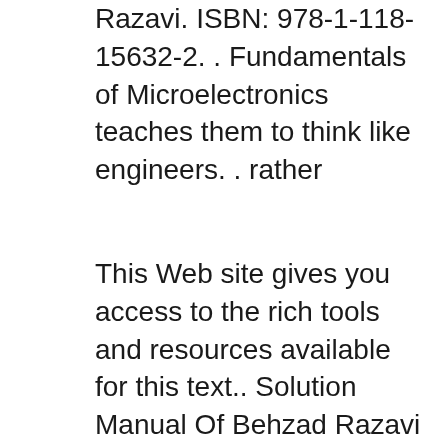Razavi. ISBN: 978-1-118-15632-2. . Fundamentals of Microelectronics teaches them to think like engineers. . rather
This Web site gives you access to the rich tools and resources available for this text.. Solution Manual Of Behzad Razavi Fundamentals of microelectronics by behzad razavi 2nd , here is the fundamentals of microelectronics by behzad razavi 2nd edition pdf along with the. Behzad Razavi. ISBN: 978-1-118-15632-2. . Fundamentals of Microelectronics teaches them to think like engineers. . rather This Web site gives you access to the rich tools and resources available